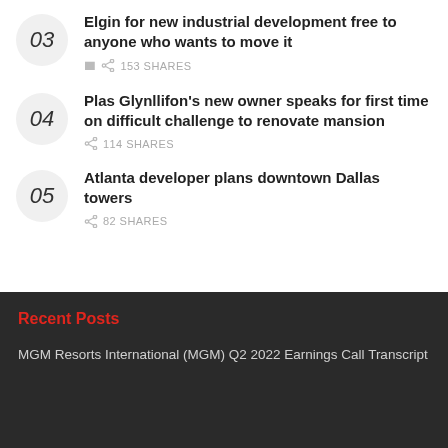03 — Elgin for new industrial development free to anyone who wants to move it — 153 SHARES
04 — Plas Glynllifon's new owner speaks for first time on difficult challenge to renovate mansion — 114 SHARES
05 — Atlanta developer plans downtown Dallas towers — 82 SHARES
Recent Posts
MGM Resorts International (MGM) Q2 2022 Earnings Call Transcript